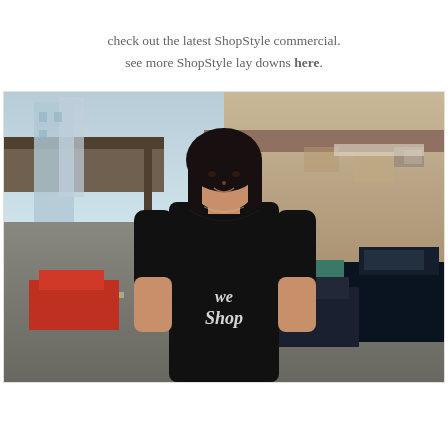check out the latest ShopStyle commercial. see more ShopStyle lay downs here.
[Figure (photo): A woman wearing a black t-shirt with 'we Shop' script text, standing outdoors in an urban/industrial area with cars and warehouse buildings in the background.]